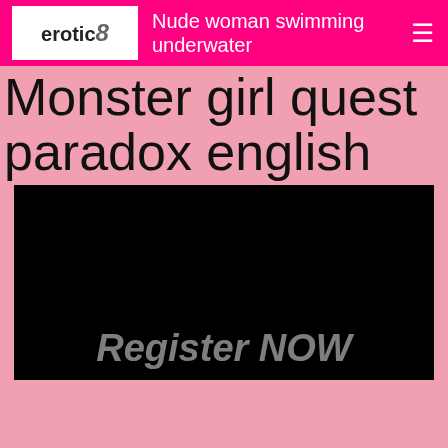erotic8 | Nude woman swimming underwater
Monster girl quest paradox english
[Figure (screenshot): Black rectangular image area with partially visible text 'Register NOW' in light gray italic at the bottom]